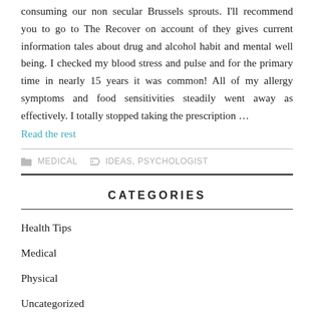consuming our non secular Brussels sprouts. I'll recommend you to go to The Recover on account of they gives current information tales about drug and alcohol habit and mental well being. I checked my blood stress and pulse and for the primary time in nearly 15 years it was common! All of my allergy symptoms and food sensitivities steadily went away as effectively. I totally stopped taking the prescription …
Read the rest
MEDICAL   IDEAS, PSYCHOLOGIST
CATEGORIES
Health Tips
Medical
Physical
Uncategorized